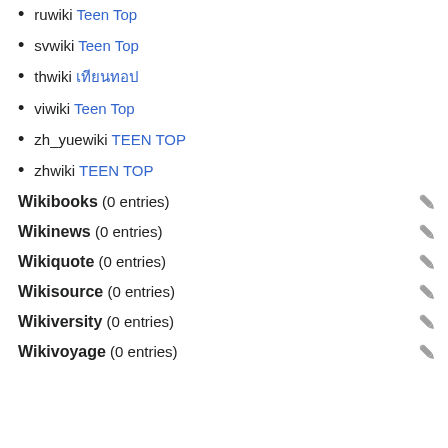ruwiki Teen Top
svwiki Teen Top
thwiki เทียนทอป
viwiki Teen Top
zh_yuewiki TEEN TOP
zhwiki TEEN TOP
Wikibooks (0 entries)
Wikinews (0 entries)
Wikiquote (0 entries)
Wikisource (0 entries)
Wikiversity (0 entries)
Wikivoyage (0 entries)